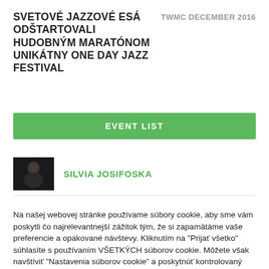SVETOVÉ JAZZOVÉ ESÁ ODŠTARTOVALI HUDOBNÝM MARATÓNOM UNIKÁTNY ONE DAY JAZZ FESTIVAL
TWMC DECEMBER 2016
EVENT LIST
[Figure (photo): Black and white photo of Silvia Josifoska singing]
SILVIA JOSIFOSKA
Na našej webovej stránke používame súbory cookie, aby sme vám poskytli čo najrelevantnejší zážitok tým, že si zapamätáme vaše preferencie a opakované návštevy. Kliknutím na "Prijať všetko" súhlasíte s používaním VŠETKÝCH súborov cookie. Môžete však navštíviť "Nastavenia súborov cookie" a poskytnúť kontrolovaný súhlas.
Nastavenia súborov cookie
Prijať všetko